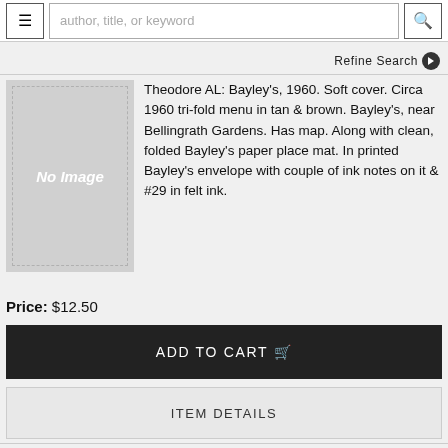author, title, or keyword
Refine Search
[Figure (illustration): No Image placeholder box with dashed border on gray background]
Theodore AL: Bayley's, 1960. Soft cover. Circa 1960 tri-fold menu in tan & brown. Bayley's, near Bellingrath Gardens. Has map. Along with clean, folded Bayley's paper place mat. In printed Bayley's envelope with couple of ink notes on it & #29 in felt ink.
Price: $12.50
ADD TO CART
ITEM DETAILS